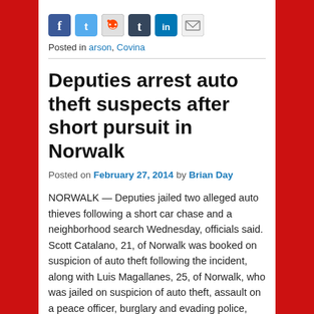[Figure (other): Social media sharing icons: Facebook, Twitter, Reddit, Tumblr, LinkedIn, Email]
Posted in arson, Covina
Deputies arrest auto theft suspects after short pursuit in Norwalk
Posted on February 27, 2014 by Brian Day
NORWALK — Deputies jailed two alleged auto thieves following a short car chase and a neighborhood search Wednesday, officials said. Scott Catalano, 21, of Norwalk was booked on suspicion of auto theft following the incident, along with Luis Magallanes, 25, of Norwalk, who was jailed on suspicion of auto theft, assault on a peace officer, burglary and evading police, Los Angeles County sheriff's Lt. Jason Skeen said.